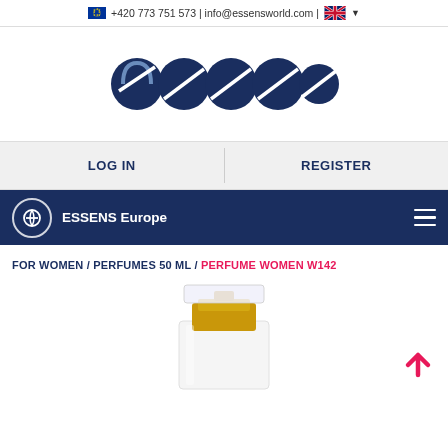+420 773 751 573 | info@essensworld.com |
[Figure (logo): ESSENS logo made of dark navy blue circular letter shapes spelling 'essens']
LOG IN
REGISTER
ESSENS Europe
FOR WOMEN / PERFUMES 50 ML / PERFUME WOMEN W142
[Figure (photo): A perfume bottle with a clear glass body and gold metallic cap/spray mechanism, partially visible from the top]